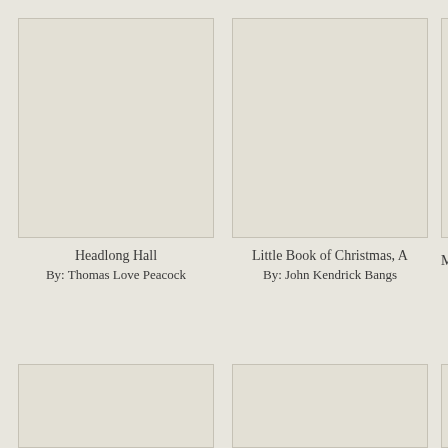[Figure (illustration): Book cover placeholder for Headlong Hall - beige/tan empty cover]
Headlong Hall
By: Thomas Love Peacock
[Figure (illustration): Book cover placeholder for Little Book of Christmas, A - beige/tan empty cover]
Little Book of Christmas, A
By: John Kendrick Bangs
[Figure (illustration): Partially visible book cover with gold/yellow badge in upper right corner]
M
[Figure (illustration): Book cover placeholder - beige/tan empty cover, bottom row left]
[Figure (illustration): Book cover placeholder - beige/tan empty cover, bottom row center]
[Figure (illustration): Partially visible book cover placeholder, bottom row right]